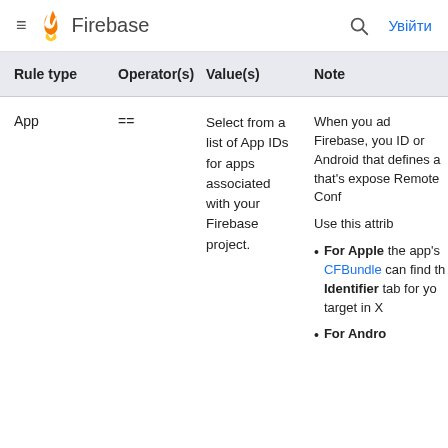Firebase — Увійти
| Rule type | Operator(s) | Value(s) | Note |
| --- | --- | --- | --- |
| App | == | Select from a list of App IDs for apps associated with your Firebase project. | When you add Firebase, you ID or Android that defines a that's exposed Remote Conf

Use this attrib

• For Apple the app's CFBundle can find th Identifier tab for yo target in X

• For Andro |